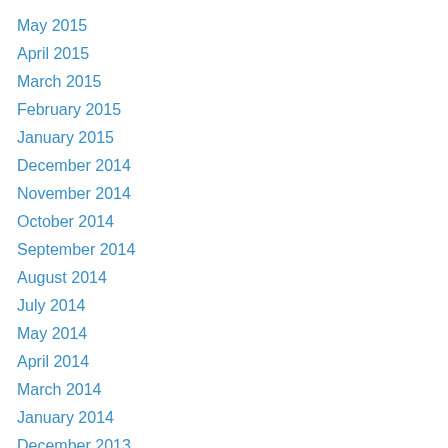May 2015
April 2015
March 2015
February 2015
January 2015
December 2014
November 2014
October 2014
September 2014
August 2014
July 2014
May 2014
April 2014
March 2014
January 2014
December 2013
November 2013
October 2013
September 2013
August 2013